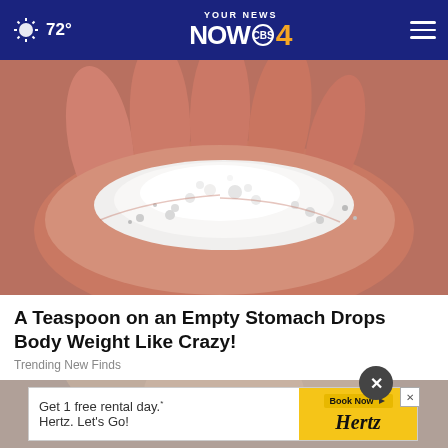72° YOUR NEWS NOW 4
[Figure (photo): Close-up photo of an open human hand holding a pile of small white granules or salt crystals]
A Teaspoon on an Empty Stomach Drops Body Weight Like Crazy!
Trending New Finds
[Figure (photo): Bottom portion showing a partially visible face/person in background with an advertisement overlay]
[Figure (infographic): Hertz advertisement banner: 'Get 1 free rental day.* Hertz. Let's Go!' with Book Now button]